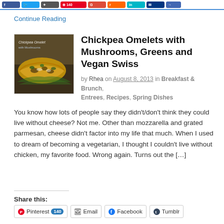Social share buttons bar (Facebook, Twitter, dark share, Pinterest 140, red, orange, teal, navy, blue)
Continue Reading
[Figure (photo): Thumbnail photo of chickpea omelet with mushrooms, greens and vegan swiss on a plate]
Chickpea Omelets with Mushrooms, Greens and Vegan Swiss
by Rhea on August 8, 2013 in Breakfast & Brunch, Entrees, Recipes, Spring Dishes
You know how lots of people say they didn't/don't think they could live without cheese? Not me. Other than mozzarella and grated parmesan, cheese didn't factor into my life that much. When I used to dream of becoming a vegetarian, I thought I couldn't live without chicken, my favorite food. Wrong again. Turns out the […]
Share this:
Pinterest 140  Email  Facebook  Tumblr